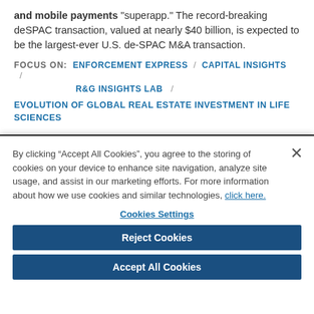and mobile payments "superapp." The record-breaking deSPAC transaction, valued at nearly $40 billion, is expected to be the largest-ever U.S. de-SPAC M&A transaction.
FOCUS ON: ENFORCEMENT EXPRESS / CAPITAL INSIGHTS / R&G INSIGHTS LAB /
EVOLUTION OF GLOBAL REAL ESTATE INVESTMENT IN LIFE SCIENCES
By clicking “Accept All Cookies”, you agree to the storing of cookies on your device to enhance site navigation, analyze site usage, and assist in our marketing efforts. For more information about how we use cookies and similar technologies, click here.
Cookies Settings
Reject Cookies
Accept All Cookies